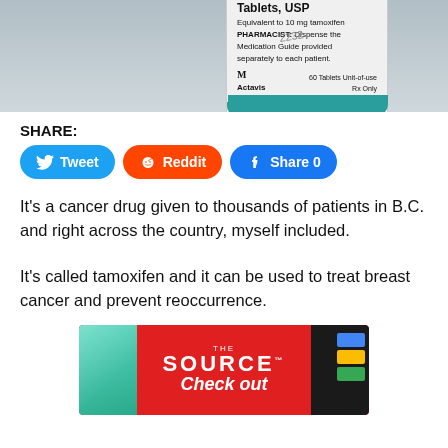[Figure (photo): Photo of a medicine bottle label showing 'Tablets, USP, Equivalent to 10 mg tamoxifen, PHARMACIST: Dispense the Medication Guide provided separately to each patient. Actavis, 60 Tablets Unit-of-use, Rx Only']
SHARE:
Tweet  Reddit  Share 0
It's a cancer drug given to thousands of patients in B.C. and right across the country, myself included.
It's called tamoxifen and it can be used to treat breast cancer and prevent reoccurrence.
[Figure (photo): Advertisement banner for The Source with phones and colorful logo pieces visible]